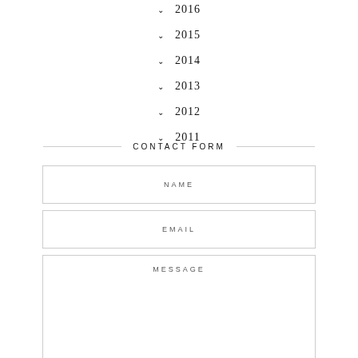2016
2015
2014
2013
2012
2011
CONTACT FORM
NAME
EMAIL
MESSAGE